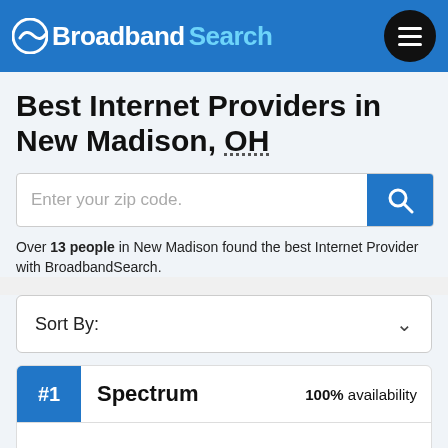Broadband Search
Best Internet Providers in New Madison, OH
Enter your zip code.
Over 13 people in New Madison found the best Internet Provider with BroadbandSearch.
Sort By:
#1  Spectrum  100% availability
[Figure (logo): Spectrum authorized retailer logo]